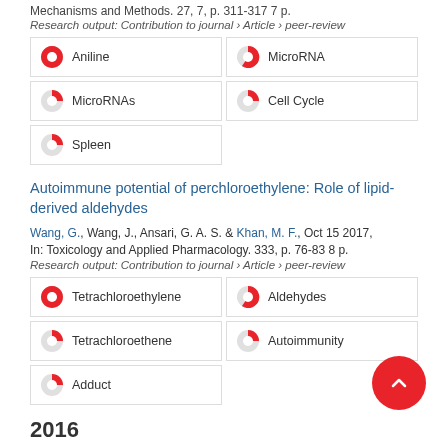Mechanisms and Methods. 27, 7, p. 311-317 7 p.
Research output: Contribution to journal › Article › peer-review
Aniline
MicroRNA
MicroRNAs
Cell Cycle
Spleen
Autoimmune potential of perchloroethylene: Role of lipid-derived aldehydes
Wang, G., Wang, J., Ansari, G. A. S. & Khan, M. F., Oct 15 2017, In: Toxicology and Applied Pharmacology. 333, p. 76-83 8 p.
Research output: Contribution to journal › Article › peer-review
Tetrachloroethylene
Aldehydes
Tetrachloroethene
Autoimmunity
Adduct
2016